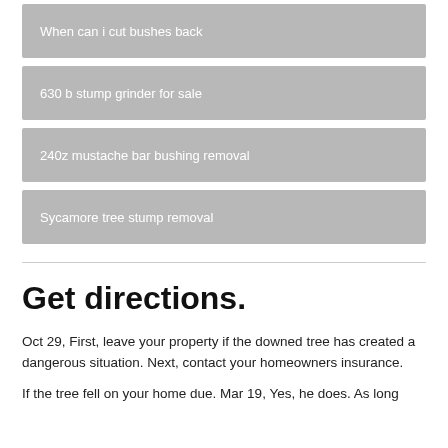When can i cut bushes back
630 b stump grinder for sale
240z mustache bar bushing removal
Sycamore tree stump removal
Get directions.
Oct 29, First, leave your property if the downed tree has created a dangerous situation. Next, contact your homeowners insurance.
If the tree fell on your home due. Mar 19, Yes, he does. As long